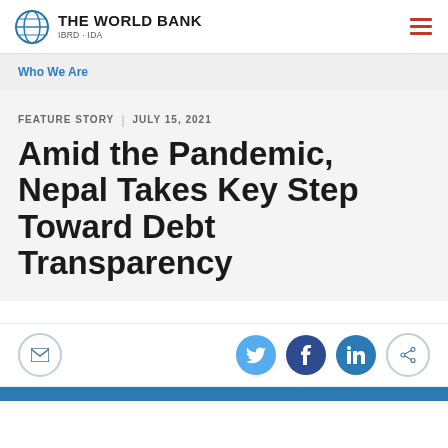THE WORLD BANK IBRD · IDA
Who We Are
FEATURE STORY | JULY 15, 2021
Amid the Pandemic, Nepal Takes Key Step Toward Debt Transparency